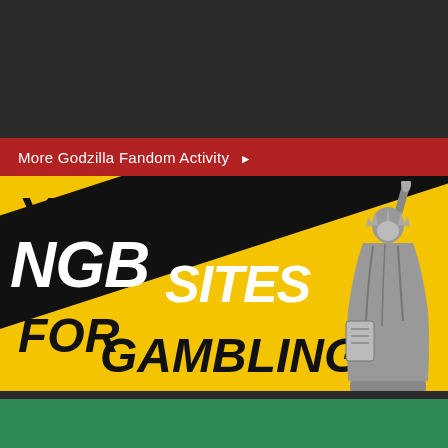More Godzilla Fandom Activity ▶
[Figure (illustration): Advertisement banner with yellow background, diagonal black band, white bold italic text reading YOUR NGB SITES FOR GAMBLING, with a grayscale Statue of Liberty image on the right side.]
[Figure (illustration): Partially visible green banner at the bottom of the page.]